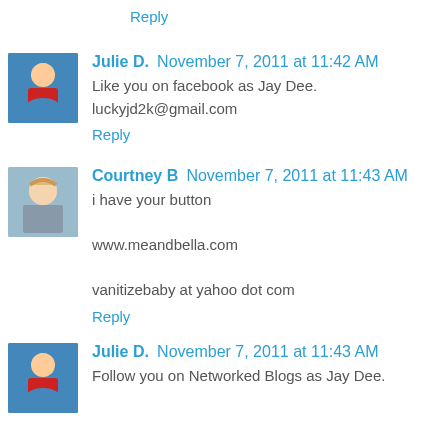Reply
Julie D.  November 7, 2011 at 11:42 AM
Like you on facebook as Jay Dee. luckyjd2k@gmail.com
Reply
Courtney B  November 7, 2011 at 11:43 AM
i have your button

www.meandbella.com

vanitizebaby at yahoo dot com
Reply
Julie D.  November 7, 2011 at 11:43 AM
Follow you on Networked Blogs as Jay Dee.